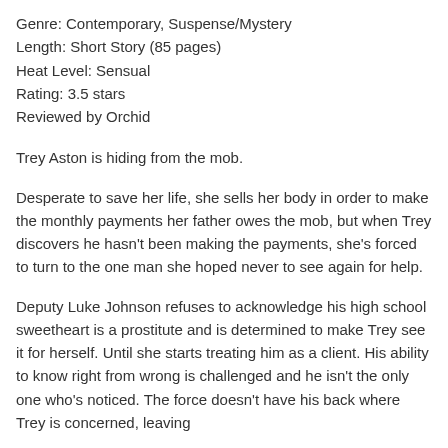Genre: Contemporary, Suspense/Mystery
Length: Short Story (85 pages)
Heat Level: Sensual
Rating: 3.5 stars
Reviewed by Orchid
Trey Aston is hiding from the mob.
Desperate to save her life, she sells her body in order to make the monthly payments her father owes the mob, but when Trey discovers he hasn't been making the payments, she's forced to turn to the one man she hoped never to see again for help.
Deputy Luke Johnson refuses to acknowledge his high school sweetheart is a prostitute and is determined to make Trey see it for herself. Until she starts treating him as a client. His ability to know right from wrong is challenged and he isn't the only one who's noticed. The force doesn't have his back where Trey is concerned, leaving